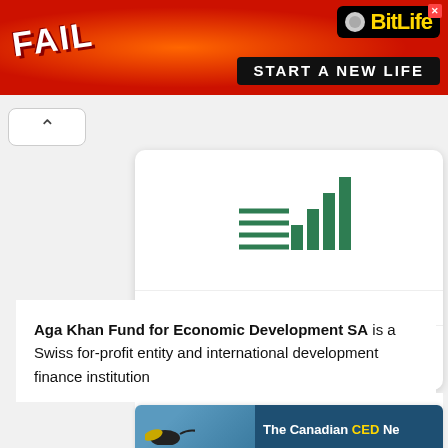[Figure (screenshot): Advertisement banner: BitLife game ad with 'FAIL' text on red/fire background and 'START A NEW LIFE' text on black background]
[Figure (logo): Aga Khan Fund for Economic Development SA logo - green bar chart style logo with horizontal lines]
an Fund for Economic Develo
Aga Khan Fund for Economic Development SA is a Swiss for-profit entity and international development finance institution
[Figure (screenshot): The Canadian CED Network card with bird image on blue background]